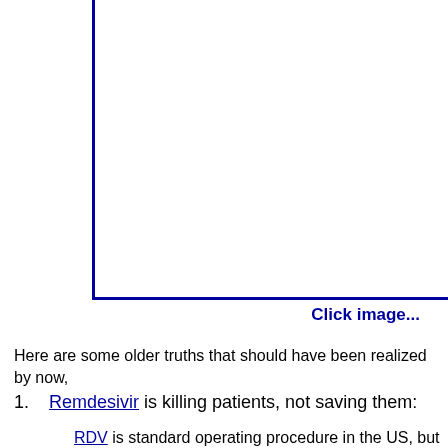[Figure (other): Empty image placeholder with blue left and bottom border lines, with a 'Click image...' link below it]
Click image...
Here are some older truths that should have been realized by now,
Remdesivir is killing patients, not saving them:
RDV is standard operating procedure in the US, but ev... doesn't work and is much more likely to kill patients...